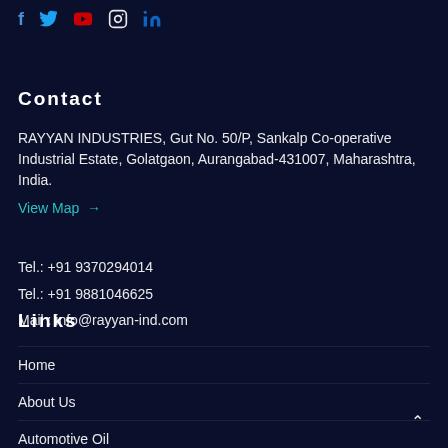[Figure (other): Social media icons row: Facebook (f), Twitter bird, YouTube (play), Instagram, LinkedIn (in)]
Contact
RAYYAN INDUSTRIES, Gut No. 50/P, Sankalp Co-operative Industrial Estate, Golatgaon, Aurangabad-431007, Maharashtra, India.
View Map →
Tel.: +91 9370294014
Tel.: +91 9881046625
Mail : info@rayyan-ind.com
Links
Home
About Us
Automotive Oil